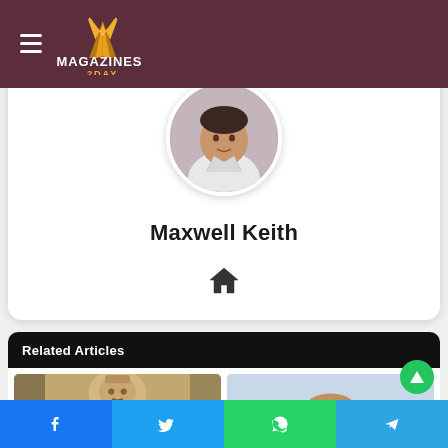Magazines 2Day - header with logo and hamburger menu
[Figure (photo): Profile photo of Maxwell Keith, a man in white clothing, circular cropped]
Maxwell Keith
[Figure (illustration): Home icon / house symbol]
Related Articles
[Figure (photo): Stone sculpture of Hanuman deity at a temple]
[Figure (photo): Akshardham temple complex aerial/wide view with gardens]
Social sharing bar: Facebook, Twitter, WhatsApp, Telegram